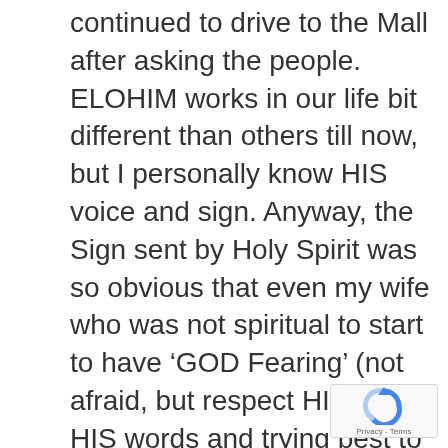continued to drive to the Mall after asking the people. ELOHIM works in our life bit different than others till now, but I personally know HIS voice and sign. Anyway, the Sign sent by Holy Spirit was so obvious that even my wife who was not spiritual to start to have ‘GOD Fearing’ (not afraid, but respect HIM in all HIS words and trying best to do HIS will) since then. For whatever reason was nothing we would like to buy in the Mall existed at all. We went home and didn’t dare to stop to buy food although we were so hungry. Next ‘Sales’ was again the next Lunar Shabbat somewhere else with over 30% discount and we need to save the money. But because of this experience we decided to keep Lunar Shabbat HOLY. Next day
[Figure (logo): reCAPTCHA badge with Privacy - Terms text]